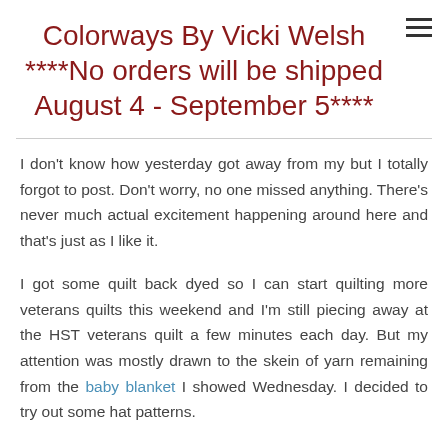Colorways By Vicki Welsh ****No orders will be shipped August 4 - September 5****
I don't know how yesterday got away from my but I totally forgot to post. Don't worry, no one missed anything. There's never much actual excitement happening around here and that's just as I like it.
I got some quilt back dyed so I can start quilting more veterans quilts this weekend and I'm still piecing away at the HST veterans quilt a few minutes each day. But my attention was mostly drawn to the skein of yarn remaining from the baby blanket I showed Wednesday. I decided to try out some hat patterns.